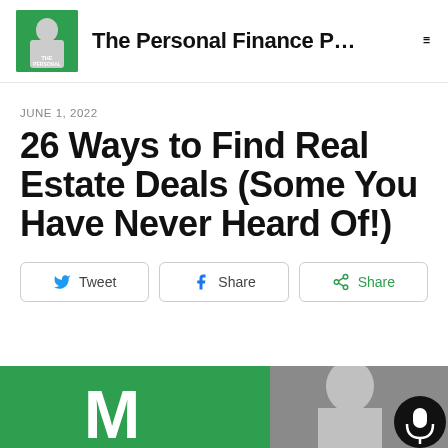The Personal Finance P…
JUNE 1, 2022
26 Ways to Find Real Estate Deals (Some You Have Never Heard Of!)
[Figure (other): Social share buttons: Tweet (Twitter), Share (Facebook), Share (generic green)]
[Figure (photo): Green and grey banner at the bottom showing an M logo on green background and a person on grey background, with a microphone button]